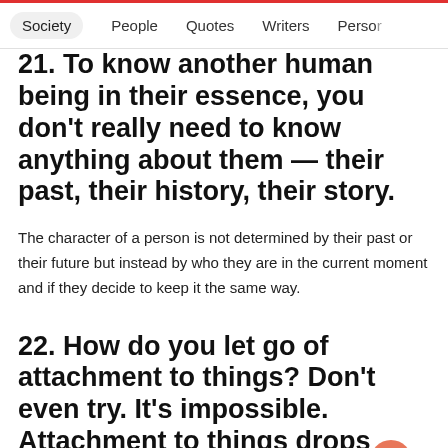Society  People  Quotes  Writers  Person
21. To know another human being in their essence, you don't really need to know anything about them — their past, their history, their story.
The character of a person is not determined by their past or their future but instead by who they are in the current moment and if they decide to keep it the same way.
22. How do you let go of attachment to things? Don't even try. It's impossible. Attachment to things drops away by itself when you no